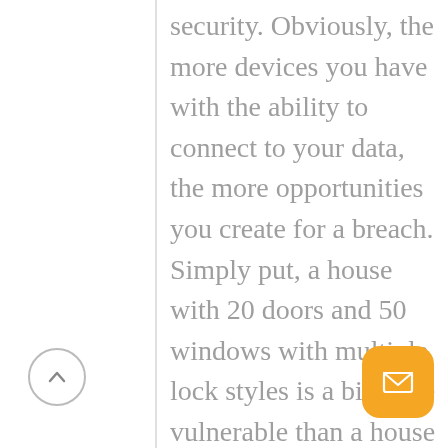security. Obviously, the more devices you have with the ability to connect to your data, the more opportunities you create for a breach. Simply put, a house with 20 doors and 50 windows with multiple lock styles is a bit more vulnerable than a house with one door and one window. BYOD increases risk to the organization. Data breaches bring a few layers of concern. First, the loss of proprietary data can effective...